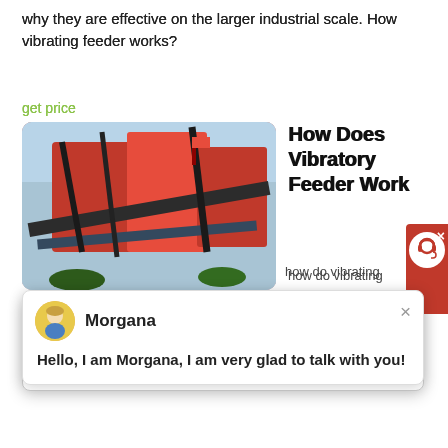why they are effective on the larger industrial scale. How vibrating feeder works?
get price
[Figure (photo): Industrial vibratory feeder / conveyor equipment with red metal structure and conveyor belts against a sky background]
How Does Vibratory Feeder Work
how do vibrating
[Figure (screenshot): Chat popup with avatar of Morgana, a customer support agent, with message: Hello, I am Morgana, I am very glad to talk with you!]
used to do a lot of work with FMC vibrating feeders Know More how works a vibrator feeder. What is a bowl feeder How work RNA Automation How Vibrator Work how does vibrating feeder works Crusher USA » how disc feeder works » how to Know More . Feeding Concepts Inc Vibratory Feeder
get price
Vibratory Feeder How It
[Figure (photo): Blue gradient image card, partial view of vibratory feeder product]